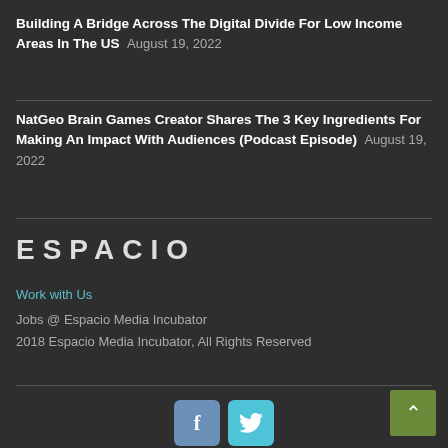Building A Bridge Across The Digital Divide For Low Income Areas In The US  August 19, 2022
NatGeo Brain Games Creator Shares The 3 Key Ingredients For Making An Impact With Audiences (Podcast Episode)  August 19, 2022
[Figure (logo): ESPACIO logo text in large spaced letters]
Work with Us
Jobs @ Espacio Media Incubator
2018 Espacio Media Incubator, All Rights Reserved
[Figure (infographic): Social media buttons: Facebook (f) and Twitter (bird icon)]
[Figure (other): Back to top button with upward arrow, green background, bottom right corner]